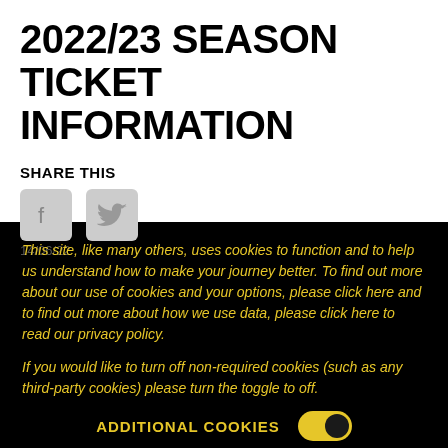2022/23 SEASON TICKET INFORMATION
SHARE THIS
[Figure (illustration): Facebook and Twitter social media icons in grey]
14/06/22
This site, like many others, uses cookies to function and to help us understand how to make your journey better. To find out more about our use of cookies and your options, please click here and to find out more about how we use data, please click here to read our privacy policy.
If you would like to turn off non-required cookies (such as any third-party cookies) please turn the toggle to off.
ADDITIONAL COOKIES
ACCEPT AND CLOSE